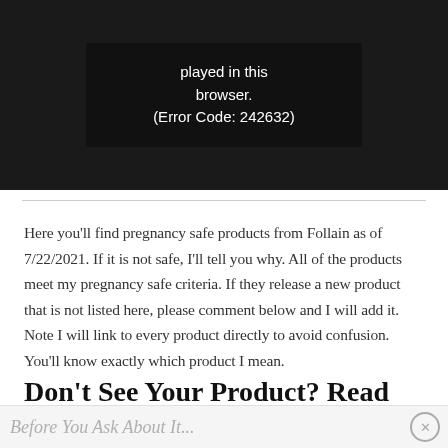[Figure (screenshot): Video player error screen showing black background with error message: 'played in this browser. (Error Code: 242632)']
Here you'll find pregnancy safe products from Follain as of 7/22/2021. If it is not safe, I'll tell you why. All of the products meet my pregnancy safe criteria. If they release a new product that is not listed here, please comment below and I will add it. Note I will link to every product directly to avoid confusion. You'll know exactly which product I mean.
Don't See Your Product? Read This
Before You Ask About It...